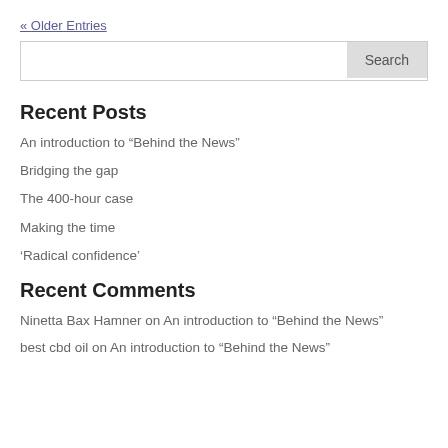« Older Entries
Recent Posts
An introduction to “Behind the News”
Bridging the gap
The 400-hour case
Making the time
‘Radical confidence’
Recent Comments
Ninetta Bax Hamner on An introduction to “Behind the News”
best cbd oil on An introduction to “Behind the News”